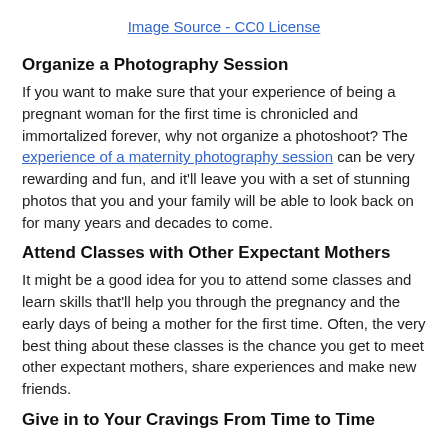Image Source - CC0 License
Organize a Photography Session
If you want to make sure that your experience of being a pregnant woman for the first time is chronicled and immortalized forever, why not organize a photoshoot? The experience of a maternity photography session can be very rewarding and fun, and it'll leave you with a set of stunning photos that you and your family will be able to look back on for many years and decades to come.
Attend Classes with Other Expectant Mothers
It might be a good idea for you to attend some classes and learn skills that'll help you through the pregnancy and the early days of being a mother for the first time. Often, the very best thing about these classes is the chance you get to meet other expectant mothers, share experiences and make new friends.
Give in to Your Cravings From Time to Time